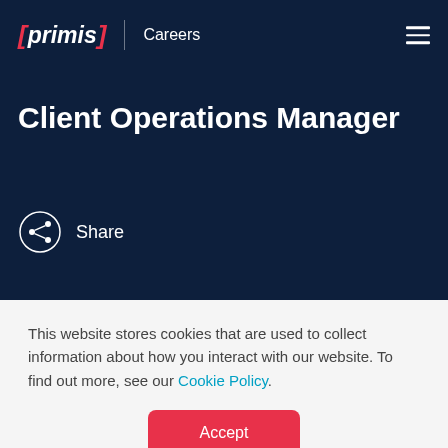[primis] | Careers
Client Operations Manager
Share
This website stores cookies that are used to collect information about how you interact with our website. To find out more, see our Cookie Policy.
Accept